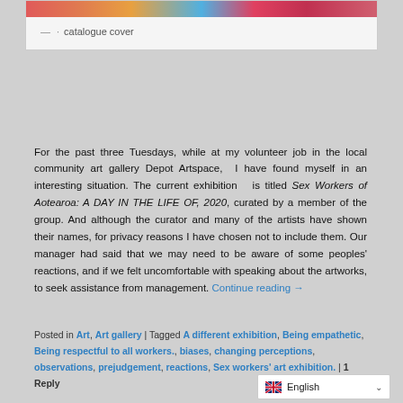[Figure (photo): Colorful abstract artwork strip used as catalogue cover]
— catalogue cover
For the past three Tuesdays, while at my volunteer job in the local community art gallery Depot Artspace, I have found myself in an interesting situation. The current exhibition is titled Sex Workers of Aotearoa: A DAY IN THE LIFE OF, 2020, curated by a member of the group. And although the curator and many of the artists have shown their names, for privacy reasons I have chosen not to include them. Our manager had said that we may need to be aware of some peoples' reactions, and if we felt uncomfortable with speaking about the artworks, to seek assistance from management. Continue reading →
Posted in Art, Art gallery | Tagged A different exhibition, Being empathetic, Being respectful to all workers., biases, changing perceptions, observations, prejudgement, reactions, Sex workers' art exhibition. | 1 Reply